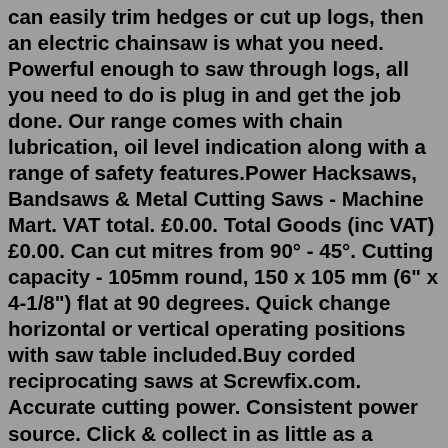can easily trim hedges or cut up logs, then an electric chainsaw is what you need. Powerful enough to saw through logs, all you need to do is plug in and get the job done. Our range comes with chain lubrication, oil level indication along with a range of safety features.Power Hacksaws, Bandsaws & Metal Cutting Saws - Machine Mart. VAT total. £0.00. Total Goods (inc VAT) £0.00. Can cut mitres from 90° - 45°. Cutting capacity - 105mm round, 150 x 105 mm (6" x 4-1/8") flat at 90 degrees. Quick change horizontal or vertical operating positions with saw table included.Buy corded reciprocating saws at Screwfix.com. Accurate cutting power. Consistent power source. Click & collect in as little as a minute. ... Erbauer ERS1100 1100W Electric Reciprocating Saw 220-240V (405FX) Product rating 4.6 out of 5 stars Variable Speed; Tool-Free Blade Change; Variable-Position Shoe; £69.98. INC VAT. Click & Collect ...Product code: 82977 Makita 18V LXT Brushless 165mm Cordless Circular Saw Body Only. £189.98. ex. VAT £158.32. Each. • Bore diameter: